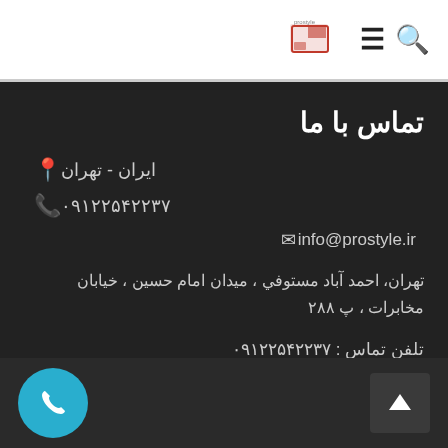Logo | Menu | Search
تماس با ما
📍 ایران - تهران
📞 ۰۹۱۲۲۵۴۲۲۳۷
✉ info@prostyle.ir
تهران، احمد آباد مستوفي ، میدان امام حسین ، خیابان مخابرات ، پ ۲۸۸
تلفن تماس : ۰۹۱۲۲۵۴۲۲۳۷